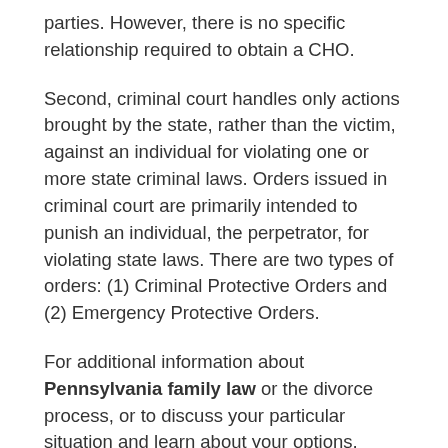parties. However, there is no specific relationship required to obtain a CHO.
Second, criminal court handles only actions brought by the state, rather than the victim, against an individual for violating one or more state criminal laws. Orders issued in criminal court are primarily intended to punish an individual, the perpetrator, for violating state laws. There are two types of orders: (1) Criminal Protective Orders and (2) Emergency Protective Orders.
For additional information about Pennsylvania family law or the divorce process, or to discuss your particular situation and learn about your options, please schedule a confidential consultation with attorney Joanne Kleiner by calling us at 215-886-1266. Or, fill out our intake form and we will contact you. The decisions you make today really will affect your future. Let us help you make those